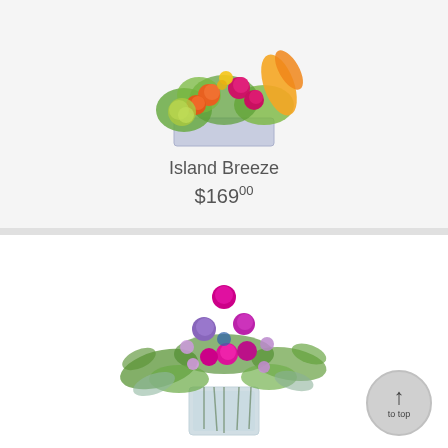[Figure (photo): Colorful floral arrangement with orange, pink/magenta roses, green hydrangeas, and orange bird-of-paradise flowers in a white rectangular vase, viewed from above/front]
Island Breeze
$16900
[Figure (photo): Purple and magenta floral arrangement with roses, lavender flowers, and lush greenery in a clear glass rectangular vase]